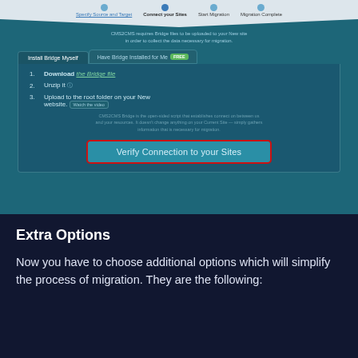[Figure (screenshot): CMS2CMS migration tool interface showing 'Connect your Sites' step with Install Bridge Myself tab active. Steps: 1. Download the Bridge file, 2. Unzip it, 3. Upload to the root folder on your New website. A highlighted 'Verify Connection to your Sites' button with red border is shown at the bottom of the panel.]
Extra Options
Now you have to choose additional options which will simplify the process of migration. They are the following: